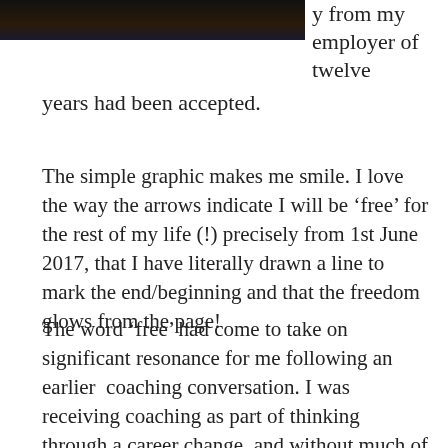[Figure (photo): Dark/night scene photo cropped at top of page, partial view]
y from my employer of twelve years had been accepted.
The simple graphic makes me smile. I love the way the arrows indicate I will be ‘free’ for the rest of my life (!) precisely from 1st June 2017, that I have literally drawn a line to mark the end/beginning and that the freedom glows from the page!
The word ‘free’ had come to take on significant resonance for me following an earlier coaching conversation. I was receiving coaching as part of thinking through a career change, and without much of an idea what I wanted to do. The coach asked me this incisive question: ‘What would it feel like if you weren’t working as an academic?’ After a short reflection, my response was: ‘I would be free’.